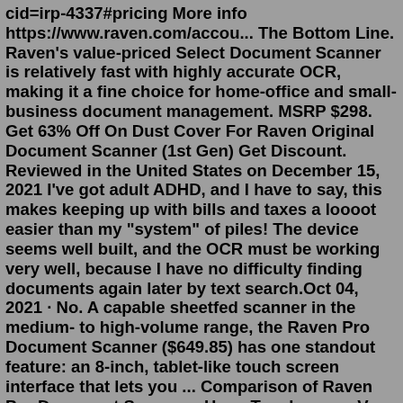cid=irp-4337#pricing More info https://www.raven.com/accou... The Bottom Line. Raven's value-priced Select Document Scanner is relatively fast with highly accurate OCR, making it a fine choice for home-office and small-business document management. MSRP $298. Get 63% Off On Dust Cover For Raven Original Document Scanner (1st Gen) Get Discount. Reviewed in the United States on December 15, 2021 I've got adult ADHD, and I have to say, this makes keeping up with bills and taxes a loooot easier than my "system" of piles! The device seems well built, and the OCR must be working very well, because I have no difficulty finding documents again later by text search.Oct 04, 2021 · No. A capable sheetfed scanner in the medium- to high-volume range, the Raven Pro Document Scanner ($649.85) has one standout feature: an 8-inch, tablet-like touch screen interface that lets you ... Comparison of Raven Pro Document Scanner - Huge Touchscreen Vs Fujitsu fi-7160 Color Duplex Document Scanner . Best Document Scanners based on Size, Tech Support